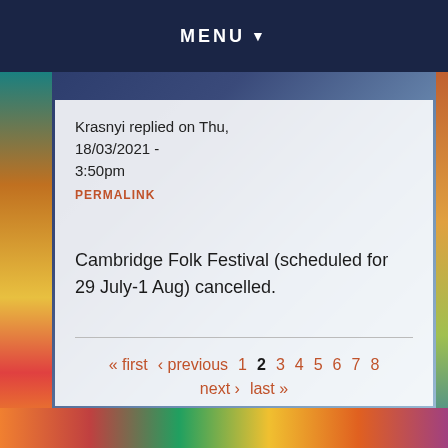MENU ▼
Krasnyi replied on Thu, 18/03/2021 - 3:50pm
PERMALINK
Cambridge Folk Festival (scheduled for 29 July-1 Aug) cancelled.
« first ‹ previous 1 2 3 4 5 6 7 8 next › last »